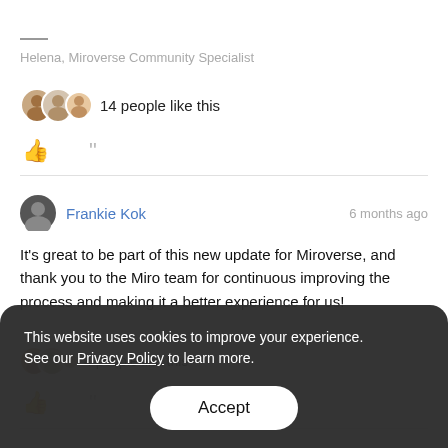Helena, Miroverse Community Specialist
14 people like this
Frankie Kok · 6 months ago
It's great to be part of this new update for Miroverse, and thank you to the Miro team for continuous improving the process and making it a better experience for us!
4 people like this
This website uses cookies to improve your experience. See our Privacy Policy to learn more.
Accept